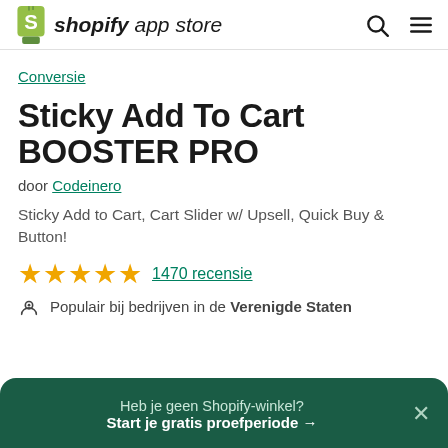shopify app store
Conversie
Sticky Add To Cart BOOSTER PRO
door Codeinero
Sticky Add to Cart, Cart Slider w/ Upsell, Quick Buy & Button!
★★★★★ 1470 recensie
Populair bij bedrijven in de Verenigde Staten
Heb je geen Shopify-winkel? Start je gratis proefperiode →